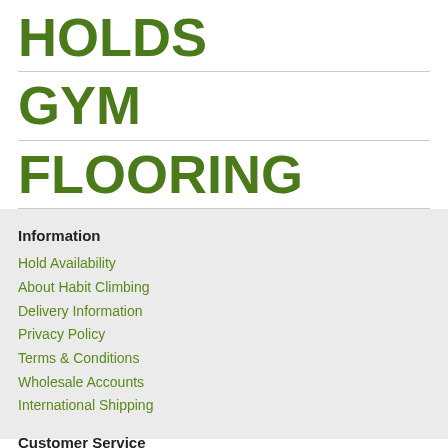HOLDS
GYM
FLOORING
Information
Hold Availability
About Habit Climbing
Delivery Information
Privacy Policy
Terms & Conditions
Wholesale Accounts
International Shipping
Customer Service
Contact Us
Returns
Site Map